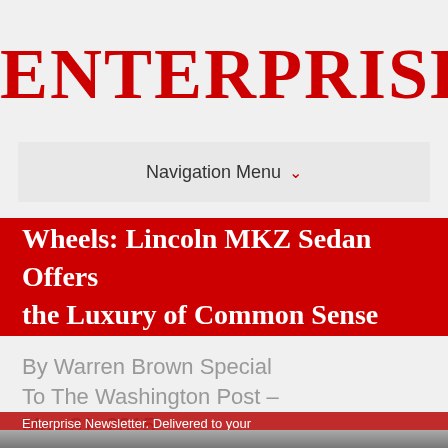ENTERPRISE
Navigation Menu ∨
Wheels: Lincoln MKZ Sedan Offers the Luxury of Common Sense
By Warren Brown Special To The Washington Post – May 31, 2015
Enterprise Newsletter. Delivered to your
[Figure (photo): Bottom strip showing partial photo of a car]